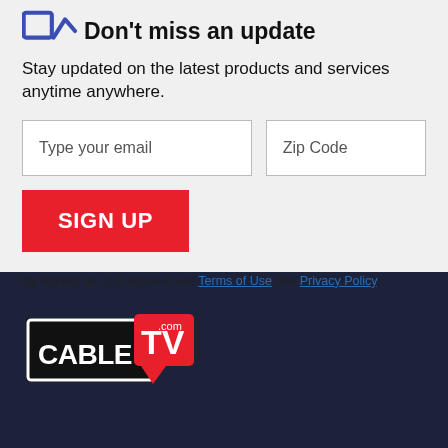Don't miss an update
Stay updated on the latest products and services anytime anywhere.
[Figure (infographic): Email signup form with two input fields (Type your email, Zip Code), a red SIGN UP button, and terms text below]
By signing up, you agree to our Terms of Use and Privacy Policy.
[Figure (logo): CableTV.com logo on dark navy background]